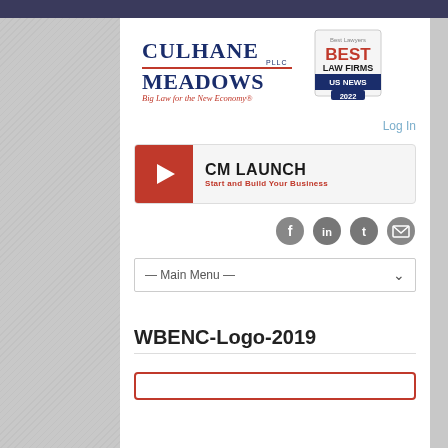[Figure (logo): Culhane Meadows PLLC logo with tagline 'Big Law for the New Economy' and Best Lawyers Best Law Firms US News 2022 badge]
Log In
[Figure (logo): CM Launch banner with red play button - Start and Build Your Business]
[Figure (infographic): Social media icons: Facebook, LinkedIn, Twitter, Email]
— Main Menu —
WBENC-Logo-2019